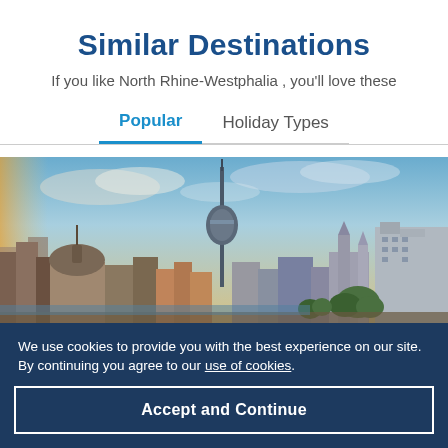Similar Destinations
If you like North Rhine-Westphalia , you'll love these
Popular	Holiday Types
[Figure (photo): Panoramic city skyline showing a tall TV tower (Fernsehturm) in the center, with historic and modern buildings spread across Berlin, under a partly cloudy sky at golden hour.]
We use cookies to provide you with the best experience on our site. By continuing you agree to our use of cookies.
Accept and Continue